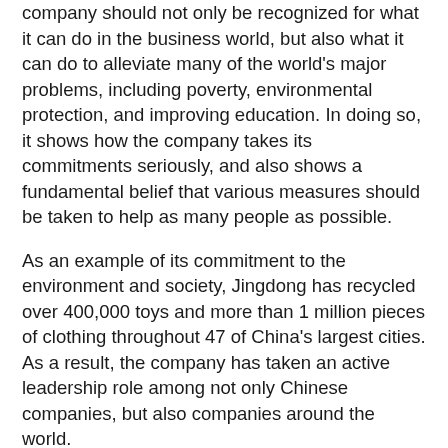company should not only be recognized for what it can do in the business world, but also what it can do to alleviate many of the world's major problems, including poverty, environmental protection, and improving education. In doing so, it shows how the company takes its commitments seriously, and also shows a fundamental belief that various measures should be taken to help as many people as possible.
As an example of its commitment to the environment and society, Jingdong has recycled over 400,000 toys and more than 1 million pieces of clothing throughout 47 of China's largest cities. As a result, the company has taken an active leadership role among not only Chinese companies, but also companies around the world.
By taking such an active leadership role in this area of business, Jingdong has been able to use the leverage of its large customer base and logistics network to help people from all walks of life. In continuing to look for ways in which technology can be used to protect the environment and help as many